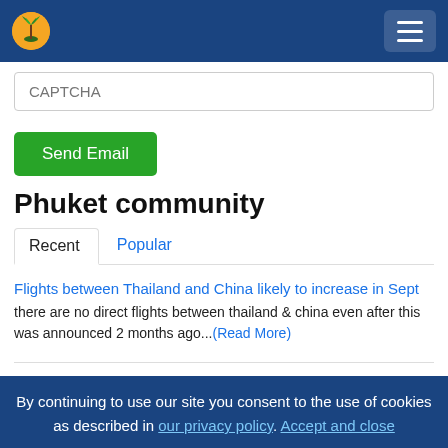[Figure (screenshot): Navigation bar with logo (orange circle with palm tree) on left and hamburger menu button on right, dark blue background]
CAPTCHA
Send Email
Phuket community
Recent  Popular
Flights between Thailand and China likely to increase in Sept
there are no direct flights between thailand & china even after this was announced 2 months ago...(Read More)
Phuket Opinion: Fair game
By continuing to use our site you consent to the use of cookies as described in our privacy policy. Accept and close